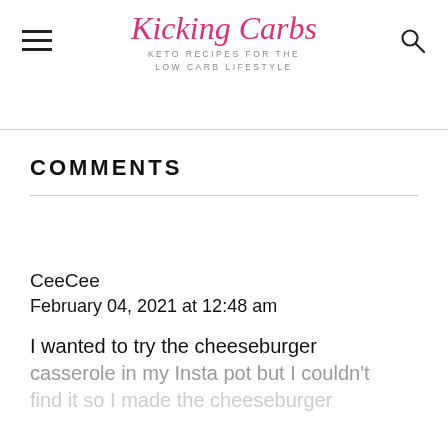Kicking Carbs — KETO RECIPES FOR THE LOW CARB LIFESTYLE
COMMENTS
CeeCee
February 04, 2021 at 12:48 am

I wanted to try the cheeseburger casserole in my Insta pot but I couldn't find it so I made the cheeseburger